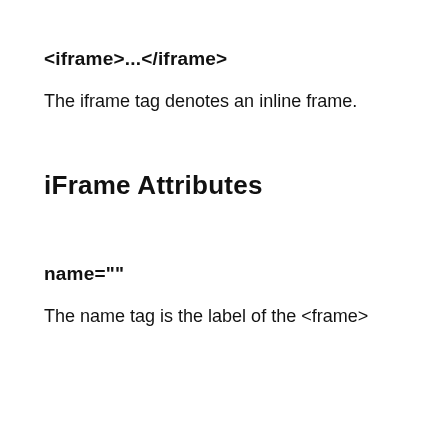<iframe>...</iframe>
The iframe tag denotes an inline frame.
iFrame Attributes
name=""
The name tag is the label of the <frame>